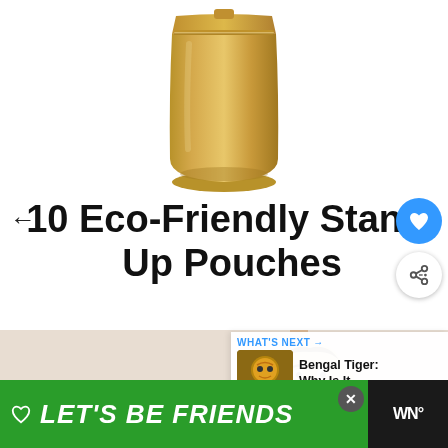[Figure (photo): Gold metallic stand-up pouch product photo on white background]
← 10 Eco-Friendly Stand-Up Pouches
[Figure (screenshot): Video thumbnail showing animated man eating with a spoon, part of product video content]
[Figure (infographic): What's Next panel showing Bengal Tiger article thumbnail with text 'WHAT'S NEXT → Bengal Tiger: Why Is It...']
[Figure (screenshot): Green banner advertisement with text 'LET'S BE FRIENDS' and husky dog image, with heart icon and close button]